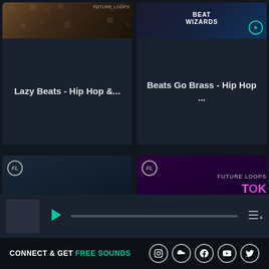[Figure (screenshot): Album art card for 'Lazy Beats - Hip Hop &...' with textured dark brown/gold background and Future Loops branding]
Lazy Beats - Hip Hop &...
[Figure (screenshot): Album art card for 'Beats Go Brass - Hip Hop ...' with Beat Wizards logo on dark blue background and a teal play circle]
Beats Go Brass - Hip Hop ...
[Figure (photo): Large album cover for 'Trap State - Hip Hop Construction Kits' by Future Loops with white bold text on dark textured background]
[Figure (photo): Large album cover for 'Tokyo Chill' by Future Loops featuring anime girl in neon-lit city with purple and green color scheme]
[Figure (screenshot): Music player bar with grey thumbnail, teal play button, progress bar and queue icon]
CONNECT & GET FREE SOUNDS
[Figure (infographic): Social media icons row: Instagram, SoundCloud, Facebook, YouTube, Twitter — white outlined circles]